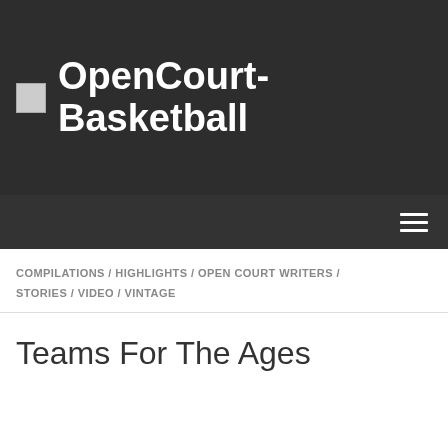OpenCourt-Basketball
COMPILATIONS / HIGHLIGHTS / OPEN COURT WRITERS / STORIES / VIDEO / VINTAGE
Teams For The Ages